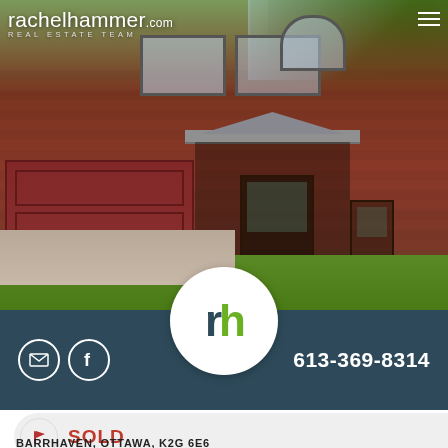[Figure (photo): Exterior photo of a red brick townhouse with attached garage door (burgundy), stone portico entry, number 65 on the wall, paved driveway, and green trees in background. rachelhammer.com REAL ESTATE TEAM logo overlaid at top.]
rachelhammer.com REAL ESTATE TEAM
613-369-8314
SOLD
BARRHAVEN, OTTAWA, K2G 6E6